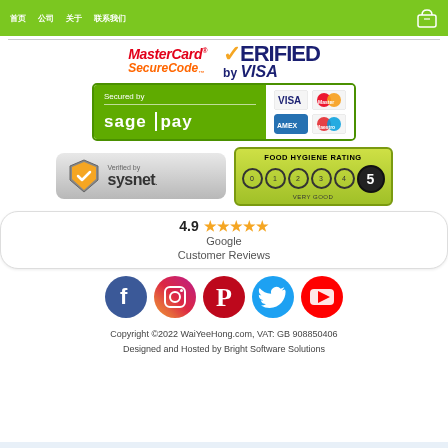首页 公司 关于 联系我们
[Figure (logo): MasterCard SecureCode logo]
[Figure (logo): Verified by VISA logo]
[Figure (logo): Secured by Sage Pay with card logos (VISA, MasterCard, Amex, Maestro)]
[Figure (logo): Verified by Sysnet badge]
[Figure (logo): Food Hygiene Rating 5 - Very Good]
[Figure (logo): Google Customer Reviews 4.9 stars]
[Figure (logo): Social media icons: Facebook, Instagram, Pinterest, Twitter, YouTube]
Copyright ©2022 WaiYeeHong.com, VAT: GB 908850406
Designed and Hosted by Bright Software Solutions